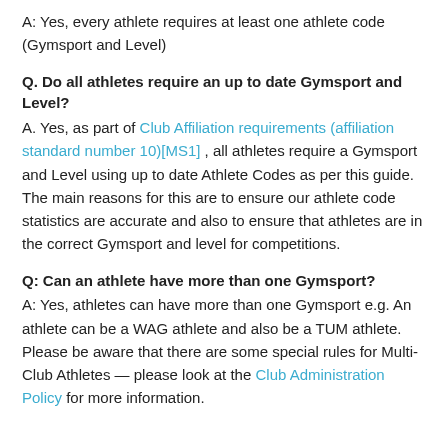A: Yes, every athlete requires at least one athlete code (Gymsport and Level)
Q. Do all athletes require an up to date Gymsport and Level?
A. Yes, as part of Club Affiliation requirements (affiliation standard number 10)[MS1] , all athletes require a Gymsport and Level using up to date Athlete Codes as per this guide. The main reasons for this are to ensure our athlete code statistics are accurate and also to ensure that athletes are in the correct Gymsport and level for competitions.
Q: Can an athlete have more than one Gymsport?
A: Yes, athletes can have more than one Gymsport e.g. An athlete can be a WAG athlete and also be a TUM athlete. Please be aware that there are some special rules for Multi-Club Athletes — please look at the Club Administration Policy for more information.